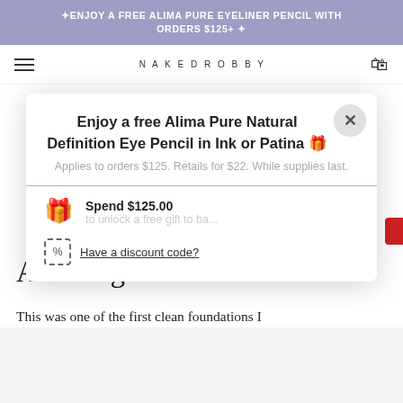✦ENJOY A FREE ALIMA PURE EYELINER PENCIL WITH ORDERS $125+ ✦
[Figure (screenshot): Website navigation bar with hamburger menu, NAKEDROBBY logo, and shopping bag icon]
[Figure (screenshot): Modal popup with close button (X), title 'Enjoy a free Alima Pure Natural Definition Eye Pencil in Ink or Patina 🎁', subtitle 'Applies to orders $125. Retails for $22. While supplies last.', a horizontal divider, promo section with gift icon and 'Spend $125.00' text, and 'Have a discount code?' link with dashed icon]
Amazing Clean Foundation
This was one of the first clean foundations I